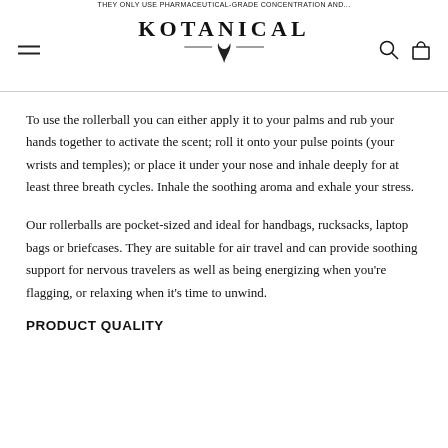THEY ONLY USE PHARMACEUTICAL-GRADE CONCENTRATION AND...
[Figure (logo): Kotanical logo with brand name in large serif letters, horizontal rules flanking a bird graphic below]
To use the rollerball you can either apply it to your palms and rub your hands together to activate the scent; roll it onto your pulse points (your wrists and temples); or place it under your nose and inhale deeply for at least three breath cycles. Inhale the soothing aroma and exhale your stress.
Our rollerballs are pocket-sized and ideal for handbags, rucksacks, laptop bags or briefcases. They are suitable for air travel and can provide soothing support for nervous travelers as well as being energizing when you're flagging, or relaxing when it's time to unwind.
PRODUCT QUALITY